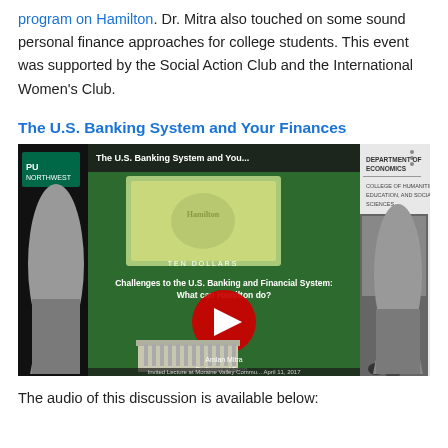program on Hamilton. Dr. Mitra also touched on some sound personal finance approaches for college students. This event was supported by the Social Action Club and the International Women's Club.
The U.S. Banking System and Your Finances
[Figure (screenshot): YouTube video thumbnail showing 'The U.S. Banking System and You...' lecture by Amlan Mitra, Professor of Economics, with a YouTube play button overlay. Title text: Challenges to the U.S. Banking and Financial System: What can Hamilton do? Invited Lecture at Moraine Valley Community, April 11, 2017.]
The audio of this discussion is available below: